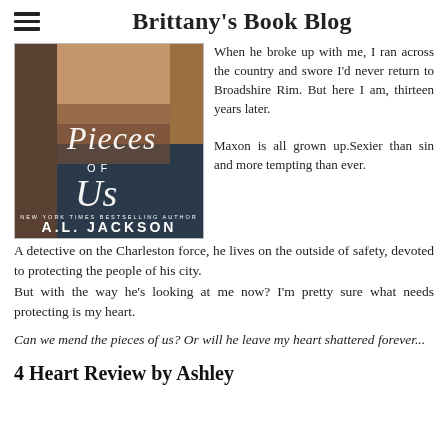Brittany's Book Blog
[Figure (photo): Book cover of 'Pieces of Us' by A.L. Jackson (New York Times Bestselling Author), showing a shirtless tattooed man's torso with dark moody tones]
When he broke up with me, I ran across the country and swore I'd never return to Broadshire Rim. But here I am, thirteen years later.

Maxon is all grown up.Sexier than sin and more tempting than ever.
A detective on the Charleston force, he lives on the outside of safety, devoted to protecting the people of his city.
But with the way he's looking at me now? I'm pretty sure what needs protecting is my heart.
Can we mend the pieces of us? Or will he leave my heart shattered forever...
4 Heart Review by Ashley